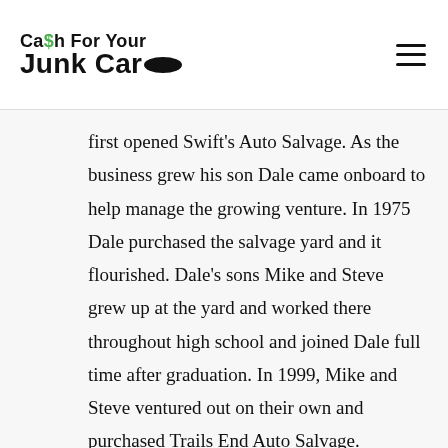Cash For Your Junk Car
first opened Swift's Auto Salvage. As the business grew his son Dale came onboard to help manage the growing venture. In 1975 Dale purchased the salvage yard and it flourished. Dale's sons Mike and Steve grew up at the yard and worked there throughout high school and joined Dale full time after graduation. In 1999, Mike and Steve ventured out on their own and purchased Trails End Auto Salvage.